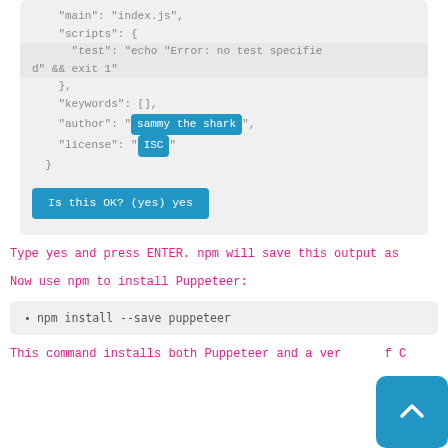[Figure (screenshot): Code block showing package.json fields: main, scripts, keywords, author (highlighted 'sammy the shark'), license (highlighted 'ISC'), closing brace, and 'Is this OK? (yes) yes' button]
Type yes and press ENTER. npm will save this output as
Now use npm to install Puppeteer:
[Figure (screenshot): Command block showing: npm install --save puppeteer]
This command installs both Puppeteer and a ver  f C